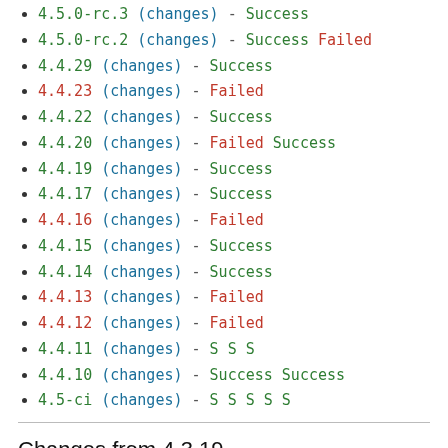4.5.0-rc.3 (changes) - Success
4.5.0-rc.2 (changes) - Success Failed
4.4.29 (changes) - Success
4.4.23 (changes) - Failed
4.4.22 (changes) - Success
4.4.20 (changes) - Failed Success
4.4.19 (changes) - Success
4.4.17 (changes) - Success
4.4.16 (changes) - Failed
4.4.15 (changes) - Success
4.4.14 (changes) - Success
4.4.13 (changes) - Failed
4.4.12 (changes) - Failed
4.4.11 (changes) - S S S
4.4.10 (changes) - Success Success
4.5-ci (changes) - S S S S S
Changes from 4.3.19